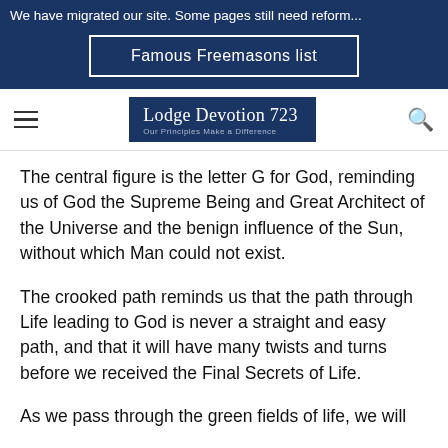We have migrated our site. Some pages still need reform...
Famous Freemasons list
Lodge Devotion 723 Our Principles Make a Difference
The central figure is the letter G for God, reminding us of God the Supreme Being and Great Architect of the Universe and the benign influence of the Sun, without which Man could not exist.
The crooked path reminds us that the path through Life leading to God is never a straight and easy path, and that it will have many twists and turns before we received the Final Secrets of Life.
As we pass through the green fields of life, we will